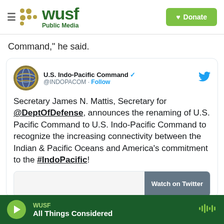WUSF Public Media — Donate
Command," he said.
[Figure (screenshot): Embedded tweet from U.S. Indo-Pacific Command (@INDOPACOM) with verified badge and Follow button. Tweet text: 'Secretary James N. Mattis, Secretary for @DeptOfDefense, announces the renaming of U.S. Pacific Command to U.S. Indo-Pacific Command to recognize the increasing connectivity between the Indian & Pacific Oceans and America's commitment to the #IndoPacific!' with a 'Watch on Twitter' button at the bottom.]
WUSF — All Things Considered (audio player bar)